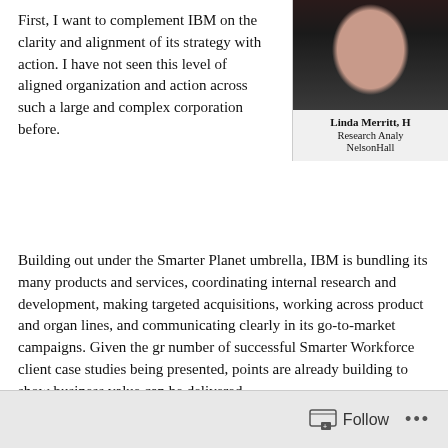First, I want to complement IBM on the clarity and alignment of its strategy with action. I have not seen this level of aligned organization and action across such a large and complex corporation before.
[Figure (photo): Portrait photo of Linda Merritt, HR Research Analyst at NelsonHall, with caption below showing name, title, and organization.]
Building out under the Smarter Planet umbrella, IBM is bundling its many products and services, coordinating internal research and development, making targeted acquisitions, working across product and organ lines, and communicating clearly in its go-to-market campaigns. Given the gr number of successful Smarter Workforce client case studies being presented, points are already building to show business value can be delivered.
Smarter Workforce Supports Smarter Commerce
Smarter Workforce and Smarter Commerce are each separate service lines tha coordinated to achieve greater business impact. Each is a combination of the Platform for Social Business (social networking, social analytics, and social c bundled with other new and existing products and services. Under the hood is myriad of product lines making it work operationally, all tied together by mes
Smarter Workforce: Activate the workforce to improve productivity a